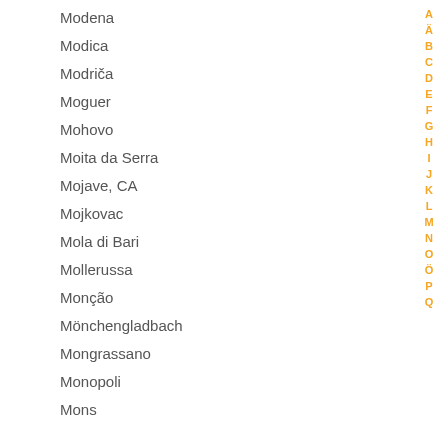Modena
Modica
Modriča
Moguer
Mohovo
Moita da Serra
Mojave, CA
Mojkovac
Mola di Bari
Mollerussa
Monção
Mönchengladbach
Mongrassano
Monopoli
Mons